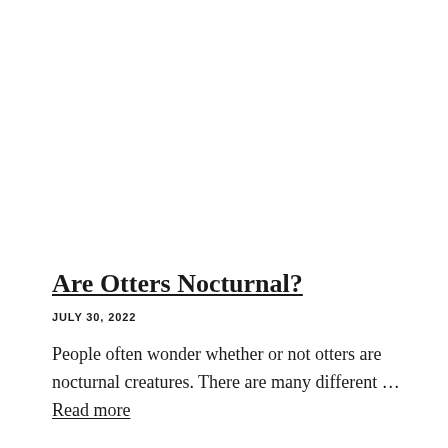Are Otters Nocturnal?
JULY 30, 2022
People often wonder whether or not otters are nocturnal creatures. There are many different … Read more